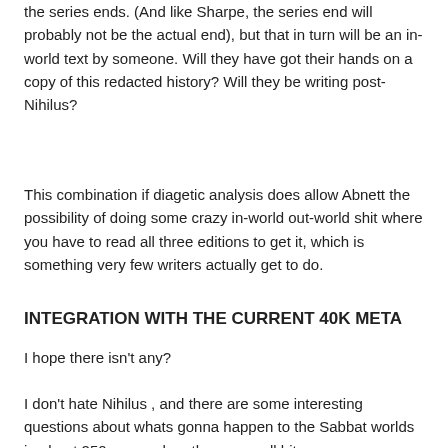the series ends. (And like Sharpe, the series end will probably not be the actual end), but that in turn will be an in-world text by someone. Will they have got their hands on a copy of this redacted history? Will they be writing post-Nihilus?
This combination if diagetic analysis does allow Abnett the possibility of doing some crazy in-world out-world shit where you have to read all three editions to get it, which is something very few writers actually get to do.
INTEGRATION WITH THE CURRENT 40K META
I hope there isn't any?
I don't hate Nihilus , and there are some interesting questions about whats gonna happen to the Sabbat worlds in about 250 years when the supercell hits.